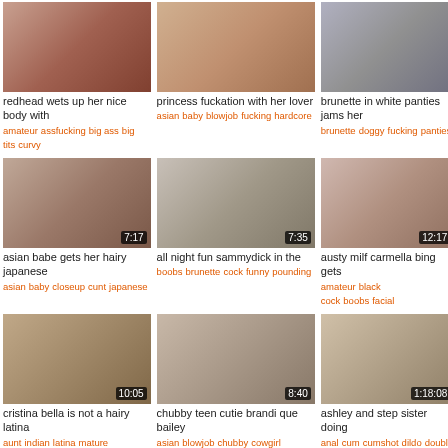[Figure (photo): Video thumbnail grid item 1 - redhead]
redhead wets up her nice body with
amateur  assfucking  big ass  big tits  curvy
[Figure (photo): Video thumbnail grid item 2 - princess fuckation]
princess fuckation with her lover
asian  baby  blowjob  fucking  hardcore
[Figure (photo): Video thumbnail grid item 3 - brunette in white panties]
brunette in white panties jams her
brunette  doggy  fucking  panties
[Figure (photo): Video thumbnail 7:17 - asian babe]
asian babe gets her hairy japanese
asian  baby  closeup  cunt  japanese
[Figure (photo): Video thumbnail 7:35 - all night fun sammydick]
all night fun sammydick in the
boobs  brunette  cock  funny  pounding
[Figure (photo): Video thumbnail 12:17 - austy milf carmella bing]
austy milf carmella bing gets
amateur  black cock  boobs  facial
[Figure (photo): Video thumbnail 10:05 - cristina bella]
cristina bella is not a hairy latina
aunt  indian  latina  mature
[Figure (photo): Video thumbnail 8:40 - chubby teen cutie brandi que bailey]
chubby teen cutie brandi que bailey
asian  blowjob  chubby  cowgirl
[Figure (photo): Video thumbnail 1:18:08 - ashley and step sister doing]
ashley and step sister doing
anal  cum  cumshot  dildo  double fucking